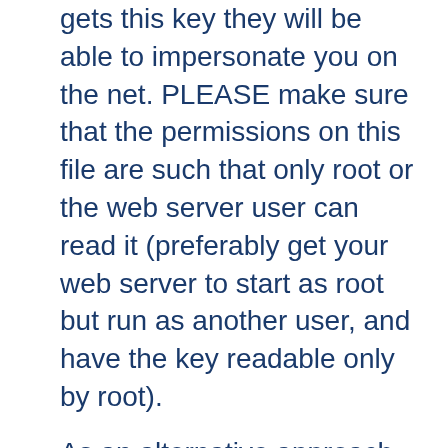gets this key they will be able to impersonate you on the net. PLEASE make sure that the permissions on this file are such that only root or the web server user can read it (preferably get your web server to start as root but run as another user, and have the key readable only by root).
As an alternative approach you can use the ``SSLPassPhraseDialog exec:/path/to/program" facility. Bear in mind that this is neither more nor less secure, of course.
How do I verify that a private key matches its Certificate?
A private key contains a